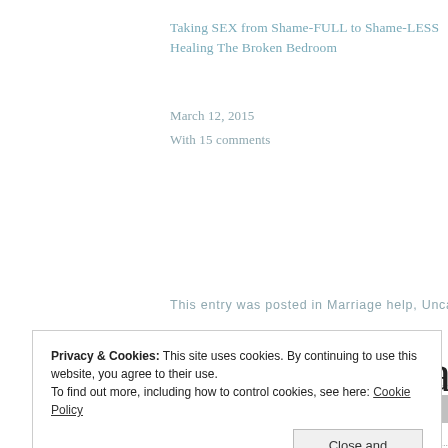Taking SEX from Shame-FULL to Shame-LESS Healing The Broken Bedroom
March 12, 2015
With 15 comments
This entry was posted in Marriage help, Uncategorized. Bookma
← You Are a Part of Something BIG
Privacy & Cookies: This site uses cookies. By continuing to use this website, you agree to their use.
To find out more, including how to control cookies, see here: Cookie Policy
Close and accept